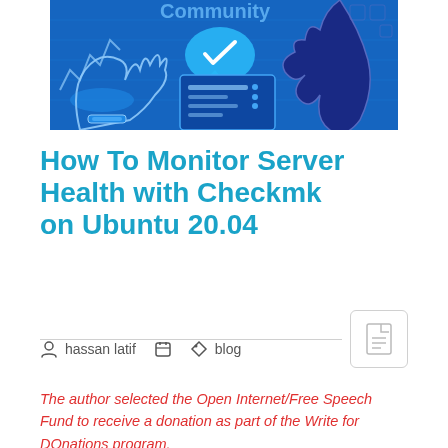[Figure (illustration): Blue illustrated banner showing community/server monitoring theme with hands, checkmarks, and digital interface elements on a bright blue background with 'Community' text visible at top.]
How To Monitor Server Health with Checkmk on Ubuntu 20.04
hassan latif  |  blog
The author selected the Open Internet/Free Speech Fund to receive a donation as part of the Write for DOnations program.